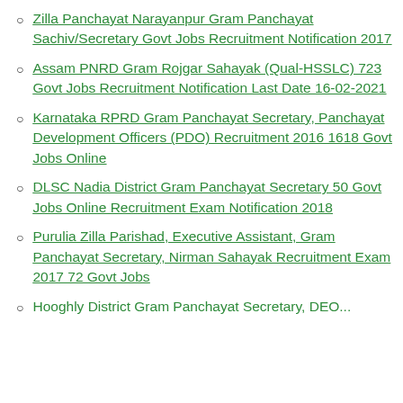Zilla Panchayat Narayanpur Gram Panchayat Sachiv/Secretary Govt Jobs Recruitment Notification 2017
Assam PNRD Gram Rojgar Sahayak (Qual-HSSLC) 723 Govt Jobs Recruitment Notification Last Date 16-02-2021
Karnataka RPRD Gram Panchayat Secretary, Panchayat Development Officers (PDO) Recruitment 2016 1618 Govt Jobs Online
DLSC Nadia District Gram Panchayat Secretary 50 Govt Jobs Online Recruitment Exam Notification 2018
Purulia Zilla Parishad, Executive Assistant, Gram Panchayat Secretary, Nirman Sahayak Recruitment Exam 2017 72 Govt Jobs
Hooghly District Gram Panchayat Secretary, DEO...